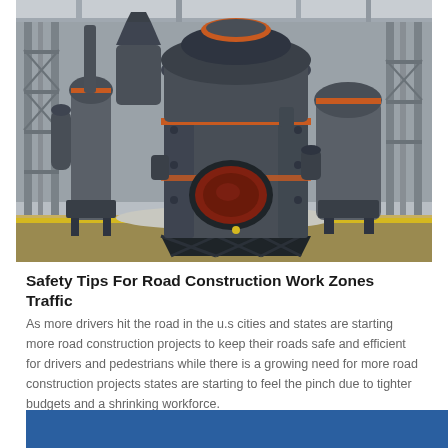[Figure (photo): Industrial cone crusher machines in a factory/warehouse setting. Large gray heavy-duty cone crusher equipment in the foreground with orange accents and a red discharge opening. Additional machinery visible in the background. White gravel/material on the floor. Yellow-painted floor markings visible.]
Safety Tips For Road Construction Work Zones Traffic
As more drivers hit the road in the u.s cities and states are starting more road construction projects to keep their roads safe and efficient for drivers and pedestrians while there is a growing need for more road construction projects states are starting to feel the pinch due to tighter budgets and a shrinking workforce.
Chat Online
[Figure (other): Blue rectangular banner/bar at the bottom of the page]